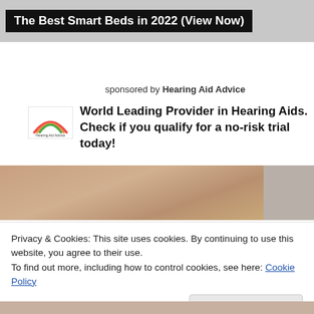The Best Smart Beds in 2022 (View Now)
sponsored by Hearing Aid Advice
World Leading Provider in Hearing Aids. Check if you qualify for a no-risk trial today!
[Figure (photo): Photo strip showing close-up of skin/hands and partial view of a person's hair/ear area]
Privacy & Cookies: This site uses cookies. By continuing to use this website, you agree to their use.
To find out more, including how to control cookies, see here: Cookie Policy
Close and accept